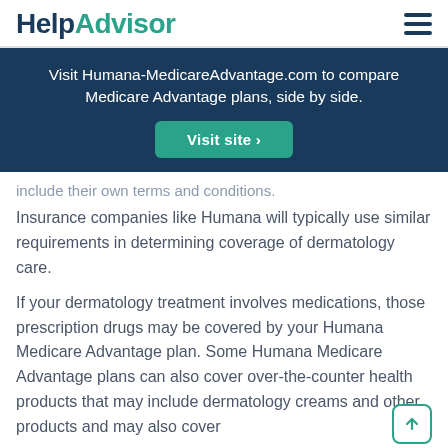HelpAdvisor
[Figure (infographic): Advertisement banner with teal background: 'Visit Humana-MedicareAdvantage.com to compare Medicare Advantage plans, side by side.' with a 'Visit site >' button]
include their own terms and conditions. Insurance companies like Humana will typically use similar requirements in determining coverage of dermatology care.
If your dermatology treatment involves medications, those prescription drugs may be covered by your Humana Medicare Advantage plan. Some Humana Medicare Advantage plans can also cover over-the-counter health products that may include dermatology creams and other products and may also cover